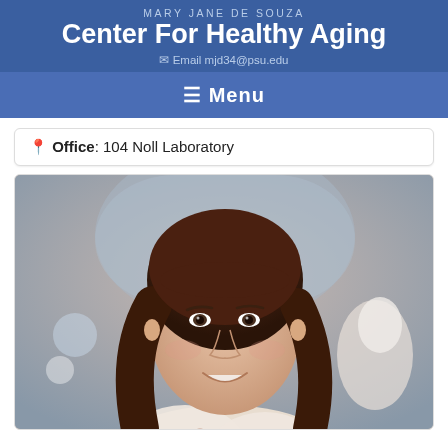MARY JANE DE SOUZA
Center For Healthy Aging
✉ Email mjd34@psu.edu
☰ Menu
📍 Office: 104 Noll Laboratory
[Figure (photo): Portrait photo of Mary Jane De Souza, a woman with dark brown shoulder-length hair, smiling, wearing a floral patterned blouse, with a blurred medical/laboratory background.]